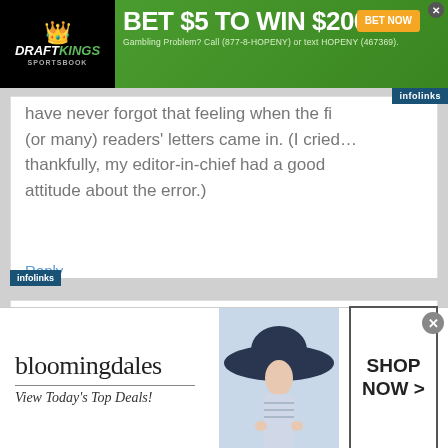[Figure (screenshot): DraftKings Sportsbook advertisement banner: 'BET $5 TO WIN $200' on green background with 'BET NOW' button. Gambling Problem? Call (877-8-HOPENY) or text HOPENY (467369).]
have never forgot that feeling when the fi (or many) readers' letters came in. (I cried… thankfully, my editor-in-chief had a good attitude about the error.)
Reply
Joellen Barak says
[Figure (screenshot): Bloomingdales advertisement: 'View Today's Top Deals!' with SHOP NOW > button and woman in wide brim hat.]